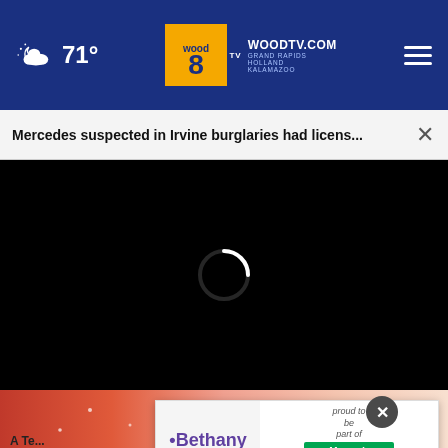71° wood8 WOODTV.COM GRAND RAPIDS HOLLAND KALAMAZOO
Mercedes suspected in Irvine burglaries had licens... ×
[Figure (screenshot): Black video player area with white circular loading spinner in the center]
[Figure (photo): Close-up of food (appears to be strawberries with powdered sugar) partially visible at bottom, with Bethany advertisement overlay and a circular close button]
A Te... (partially visible caption text cut off)